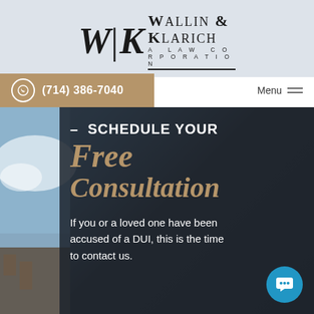[Figure (logo): Wallin & Klarich A Law Corporation logo with WK monogram]
(714) 386-7040
Menu
– SCHEDULE YOUR Free Consultation
If you or a loved one have been accused of a DUI, this is the time to contact us.